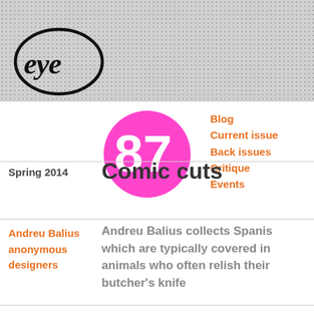[Figure (logo): Eye magazine logo — hand-drawn oval encircling the word 'eye' in cursive script]
[Figure (infographic): Magenta/pink circle with white number '87' inside, representing issue number 87]
Blog
Current issue
Back issues
Critique
Events
Spring 2014
Comic cuts
Andreu Balius anonymous designers
Andreu Balius collects Spanish which are typically covered in animals who often relish their butcher's knife